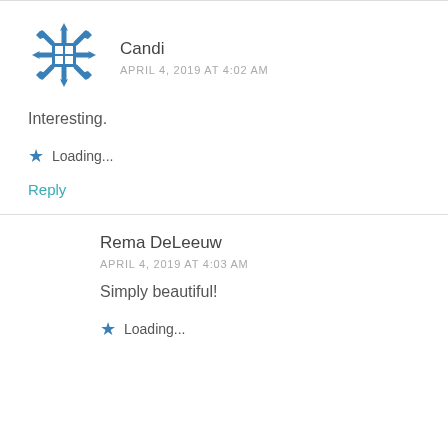[Figure (illustration): Blue snowflake-pattern avatar icon for user Candi]
Candi
APRIL 4, 2019 AT 4:02 AM
Interesting.
Loading...
Reply
Rema DeLeeuw
APRIL 4, 2019 AT 4:03 AM
Simply beautiful!
Loading...